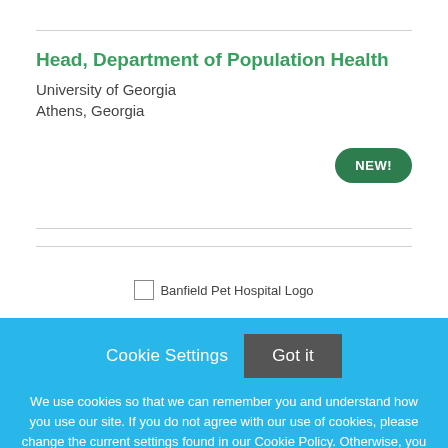Head, Department of Population Health
University of Georgia
Athens, Georgia
[Figure (logo): Banfield Pet Hospital Logo placeholder image]
Cookie Settings   Got it
We use cookies so that we can remember you and understand how you use our site. If you do not agree with our use of cookies, please change the current settings found in our Cookie Policy. Otherwise, you agree to the use of the cookies as they are currently set.